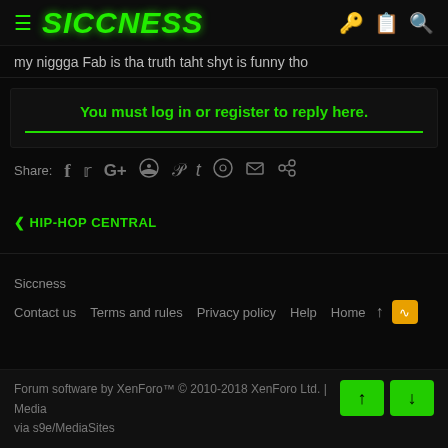SICCNESS
my niggga Fab is tha truth taht shyt is funny tho
You must log in or register to reply here.
Share: [social icons: Facebook, Twitter, Google+, Reddit, Pinterest, Tumblr, WhatsApp, Email, Link]
< HIP-HOP CENTRAL
Siccness
Contact us  Terms and rules  Privacy policy  Help  Home
Forum software by XenForo™ © 2010-2018 XenForo Ltd. | Media via s9e/MediaSites